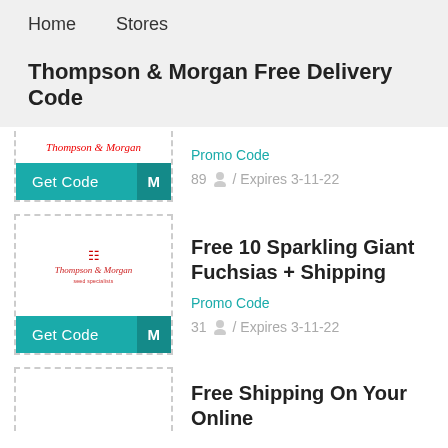Home    Stores
Thompson & Morgan Free Delivery Code
Promo Code
89 / Expires 3-11-22
[Figure (logo): Thompson & Morgan logo (partial, top cut off) with Get Code button]
Free 10 Sparkling Giant Fuchsias + Shipping
Promo Code
31 / Expires 3-11-22
[Figure (logo): Thompson & Morgan logo with Get Code button]
Free Shipping On Your Online...